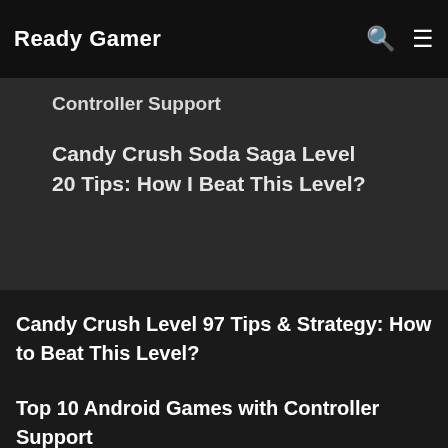Ready Gamer
Controller Support
Candy Crush Soda Saga Level 20 Tips: How I Beat This Level?
Candy Crush Level 97 Tips & Strategy: How to Beat This Level?
Top 10 Android Games with Controller Support